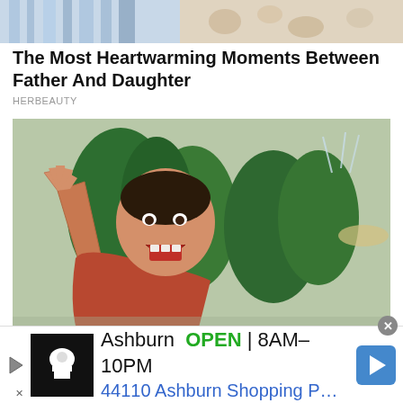[Figure (photo): Partial top strip of an image showing what appears to be striped fabric/textile and floral pattern]
The Most Heartwarming Moments Between Father And Daughter
HERBEAUTY
[Figure (photo): Man in a red t-shirt raising his hand and shouting/cheering expressively, with green topiary bushes and a fountain in the background]
That's Not Something Any Regular Actor Could Even Dream About
Ashburn  OPEN  8AM–10PM  44110 Ashburn Shopping P…